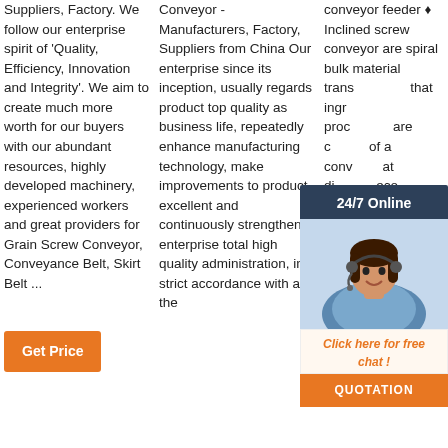Suppliers, Factory. We follow our enterprise spirit of 'Quality, Efficiency, Innovation and Integrity'. We aim to create much more worth for our buyers with our abundant resources, highly developed machinery, experienced workers and great providers for Grain Screw Conveyor, Conveyance Belt, Skirt Belt ...
Conveyor - Manufacturers, Factory, Suppliers from China Our enterprise since its inception, usually regards product top quality as business life, repeatedly enhance manufacturing technology, make improvements to product excellent and continuously strengthen enterprise total high quality administration, in strict accordance with all the
conveyor feeder ♦ Inclined screw conveyor are spiral bulk material transportation that ingredients processing are carried of a screw conveyor at different economical and convey materials up and down floors.
[Figure (photo): Customer service representative with headset, 24/7 Online chat widget with dark blue header, orange QUOTATION button]
[Figure (other): TOP button with orange arrow/dots icon pointing upward]